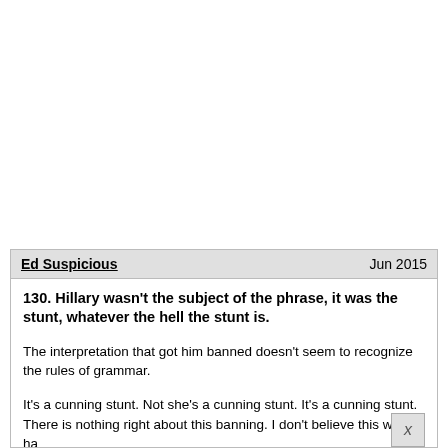Ed Suspicious    Jun 2015
130. Hillary wasn't the subject of the phrase, it was the stunt, whatever the hell the stunt is.
The interpretation that got him banned doesn't seem to recognize the rules of grammar.
It's a cunning stunt. Not she's a cunning stunt. It's a cunning stunt. There is nothing right about this banning. I don't believe this would ha...